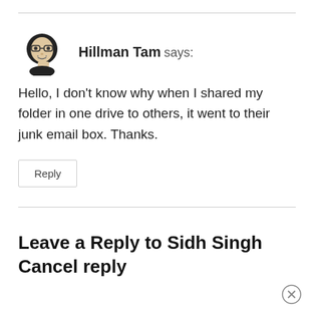Hillman Tam says:
Hello, I don't know why when I shared my folder in one drive to others, it went to their junk email box. Thanks.
Reply
Leave a Reply to Sidh Singh Cancel reply